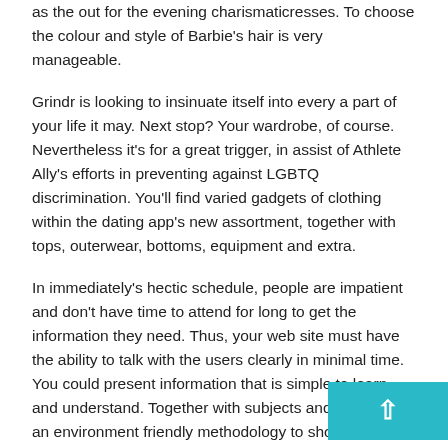as the out for the evening charismaticresses. To choose the colour and style of Barbie's hair is very manageable.
Grindr is looking to insinuate itself into every a part of your life it may. Next stop? Your wardrobe, of course. Nevertheless it's for a great trigger, in assist of Athlete Ally's efforts in preventing against LGBTQ discrimination. You'll find varied gadgets of clothing within the dating app's new assortment, together with tops, outerwear, bottoms, equipment and extra.
In immediately's hectic schedule, people are impatient and don't have time to attend for long to get the information they need. Thus, your web site must have the ability to talk with the users clearly in minimal time. You could present information that is simple to learn and understand. Together with subjects and subtitles is an environment friendly methodology to show any content in your web pages. Attempt to add bullet points as a substitute of lengthy descriptions. Keep away from offering unnecessary substance that irrelevant for your firm.
jak przyszła korona to kiero nie przedłużył mu um… pozwolił robić mu na czarno ( #januszex right he… p